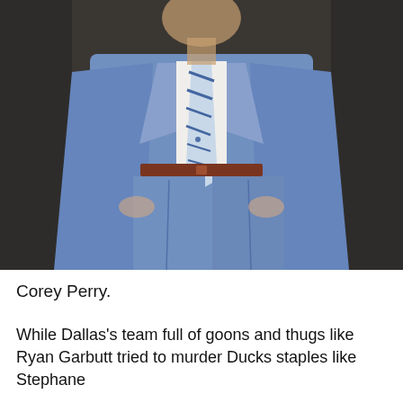[Figure (photo): A man wearing a light blue suit with a white shirt and a blue and white striped tie, with a brown leather belt. His hands are in his pockets. The background is dark gray/brown. The photo is cropped to show the body from approximately shoulders to mid-thigh, with the head partially visible at the very top.]
Corey Perry.
While Dallas's team full of goons and thugs like Ryan Garbutt tried to murder Ducks staples like Stephane